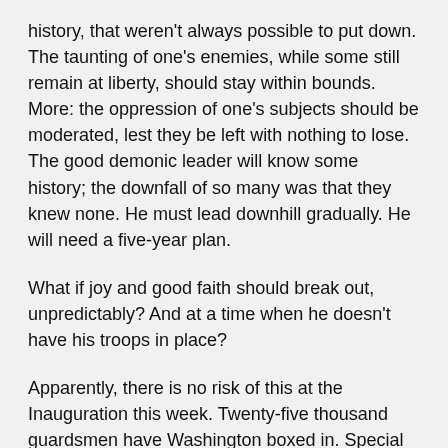history, that weren't always possible to put down. The taunting of one's enemies, while some still remain at liberty, should stay within bounds. More: the oppression of one's subjects should be moderated, lest they be left with nothing to lose. The good demonic leader will know some history; the downfall of so many was that they knew none. He must lead downhill gradually. He will need a five-year plan.
What if joy and good faith should break out, unpredictably? And at a time when he doesn't have his troops in place?
Apparently, there is no risk of this at the Inauguration this week. Twenty-five thousand guardsmen have Washington boxed in. Special forces are disposed in state capitals across the country.